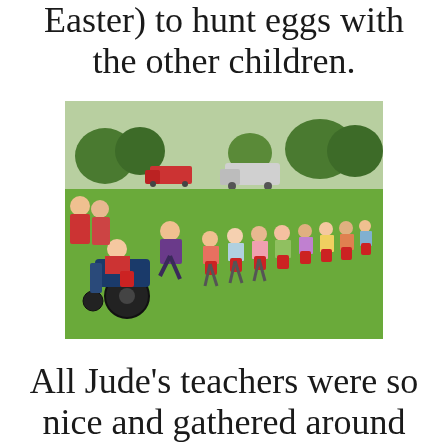Easter) to hunt eggs with the other children.
[Figure (photo): Group of young children lined up on a grassy field ready for an Easter egg hunt. A child in a wheelchair is on the left side. Adults and teachers are nearby helping. Children are holding red Easter baskets. Trees and vehicles visible in the background.]
All Jude’s teachers were so nice and gathered around him to help him put eggs in his Easter